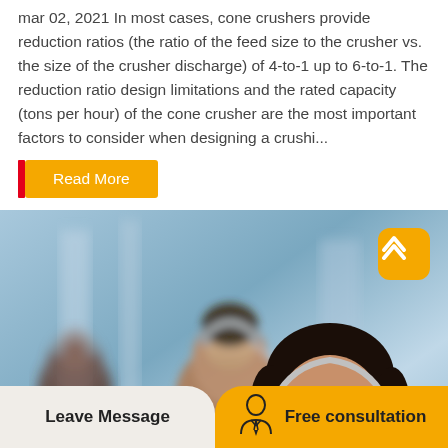mar 02, 2021 In most cases, cone crushers provide reduction ratios (the ratio of the feed size to the crusher vs. the size of the crusher discharge) of 4-to-1 up to 6-to-1. The reduction ratio design limitations and the rated capacity (tons per hour) of the cone crusher are the most important factors to consider when designing a crushi...
Read More
[Figure (photo): Photo of call center workers wearing headsets, with a smiling woman in the foreground and two colleagues in the background, in a blurred office setting.]
Leave Message
Free consultation